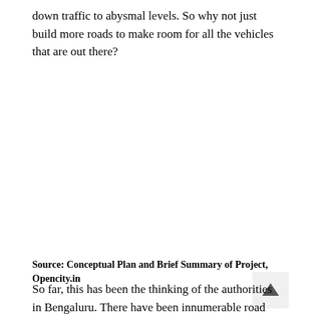down traffic to abysmal levels. So why not just build more roads to make room for all the vehicles that are out there?
Source: Conceptual Plan and Brief Summary of Project, Opencity.in
So far, this has been the thinking of the authorities in Bengaluru. There have been innumerable road widening